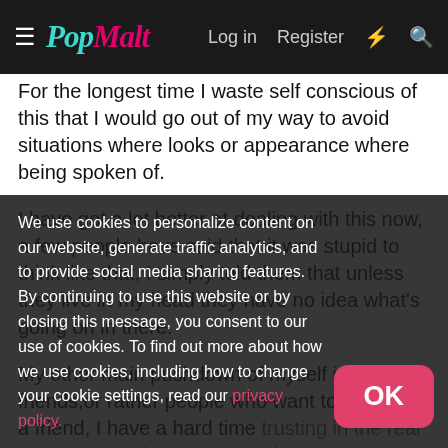PopMalt — Log in  Register
For the longest time I waste self conscious of this that I would go out of my way to avoid situations where looks or appearance where being spoken of.
I have got a lot better at dealing with this now, a few people have said that it was stupid to think like that, I simply told them that unless they live in my head they have no idea what's going on in there.
My other main pushdown of myself is friends,or rather people who want to become a friend, I have a hard time trusting in the real world,as people have abused my trust in the past.
I've got a few people online who also a really nice guys(?) but the problem is that they have told me that they think I'm untrustworthy and have a past that far from seller,so they would be better off not knowing me.
We use cookies to personalize content on our website, generate traffic analytics, and to provide social media sharing features. By continuing to use this website or by closing this message, you consent to our use of cookies. To find out more about how we use cookies, including how to change your cookie settings, read our privacy policy.